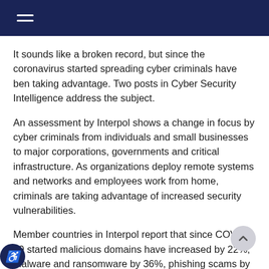It sounds like a broken record, but since the coronavirus started spreading cyber criminals have ben taking advantage. Two posts in Cyber Security Intelligence address the subject.
An assessment by Interpol shows a change in focus by cyber criminals from individuals and small businesses to major corporations, governments and critical infrastructure. As organizations deploy remote systems and networks and employees work from home, criminals are taking advantage of increased security vulnerabilities.
Member countries in Interpol report that since COVID-19 started malicious domains have increased by 22%, malware and ransomware by 36%, phishing scams by 59% and fake news by 14%. Criminals are using COVID-themed